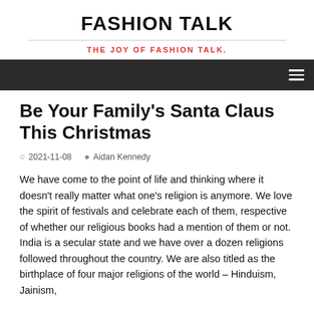FASHION TALK
THE JOY OF FASHION TALK.
Be Your Family's Santa Claus This Christmas
2021-11-08   Aidan Kennedy
We have come to the point of life and thinking where it doesn't really matter what one's religion is anymore. We love the spirit of festivals and celebrate each of them, respective of whether our religious books had a mention of them or not. India is a secular state and we have over a dozen religions followed throughout the country. We are also titled as the birthplace of four major religions of the world – Hinduism, Jainism,